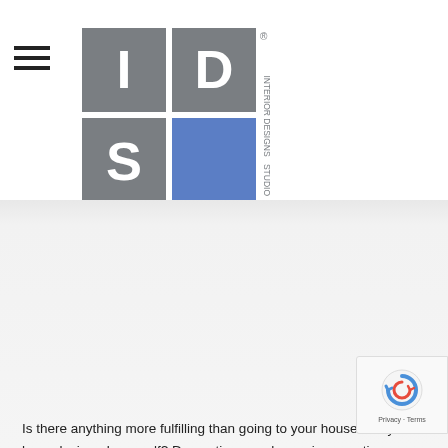[Figure (logo): IDS Interior Designs Studio logo — grey block letters I, D on top row and S with blue rectangle on bottom row, with 'INTERIOR DESIGNS STUDIO' text vertically on right side and registered trademark symbol]
Is there anything more fulfilling than going to your house that you have designed yourself? Decorating your house is a creative exercise that not every property owner can do with complete validation. It needs tolerance and requires choosing the best top quality material for every space and space that will add amazing entice your space....
[Figure (infographic): Row of social media icons: Facebook (dark blue circle, f), Twitter (teal circle, bird), LinkedIn (teal circle, in), Google+ (red-orange circle, G+), VK (blue-grey circle, VK)]